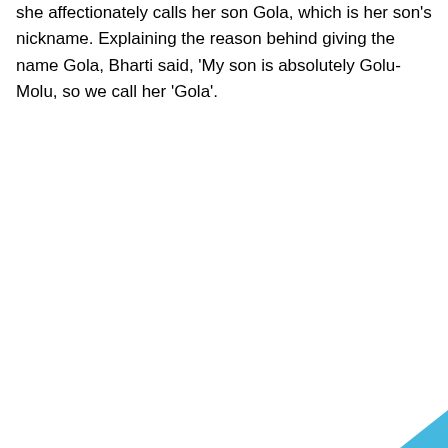she affectionately calls her son Gola, which is her son's nickname. Explaining the reason behind giving the name Gola, Bharti said, 'My son is absolutely Golu-Molu, so we call her 'Gola'.